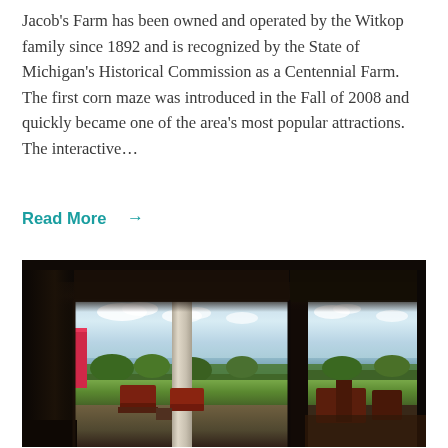Jacob's Farm has been owned and operated by the Witkop family since 1892 and is recognized by the State of Michigan's Historical Commission as a Centennial Farm. The first corn maze was introduced in the Fall of 2008 and quickly became one of the area's most popular attractions. The interactive...
Read More →
[Figure (photo): Interior view looking outward through open glass doors and windows of a farm building onto a porch deck with Adirondack chairs, green lawn, trees, and a body of water visible in the background under partly cloudy sky. A pink banner is visible on the left. Dining chairs and tables are visible through a window on the right.]